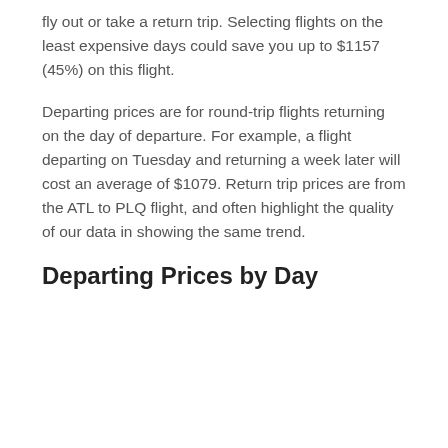fly out or take a return trip. Selecting flights on the least expensive days could save you up to $1157 (45%) on this flight.
Departing prices are for round-trip flights returning on the day of departure. For example, a flight departing on Tuesday and returning a week later will cost an average of $1079. Return trip prices are from the ATL to PLQ flight, and often highlight the quality of our data in showing the same trend.
Departing Prices by Day